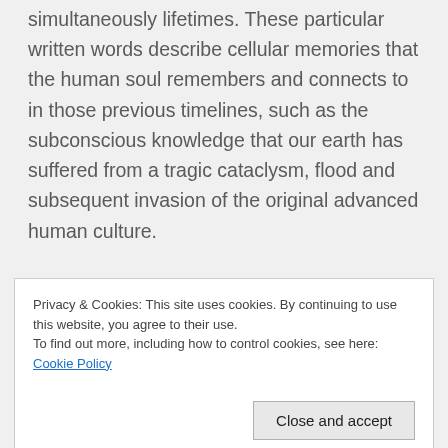simultaneously lifetimes. These particular written words describe cellular memories that the human soul remembers and connects to in those previous timelines, such as the subconscious knowledge that our earth has suffered from a tragic cataclysm, flood and subsequent invasion of the original advanced human culture.

The vengeful God represented in violent religions, is the mask of an alien imposter that uses
Privacy & Cookies: This site uses cookies. By continuing to use this website, you agree to their use.
To find out more, including how to control cookies, see here: Cookie Policy